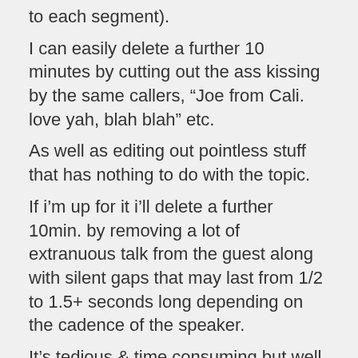to each segment).
I can easily delete a further 10 minutes by cutting out the ass kissing by the same callers, “Joe from Cali. love yah, blah blah” etc.
As well as editing out pointless stuff that has nothing to do with the topic.
If i’m up for it i’ll delete a further 10min. by removing a lot of extranuous talk from the guest along with silent gaps that may last from 1/2 to 1.5+ seconds long depending on the cadence of the speaker.
It’s tedious & time consuming but well worth it. LOL!
John B. Wells was the best.
I like Lisa Garr too. More authentic & far